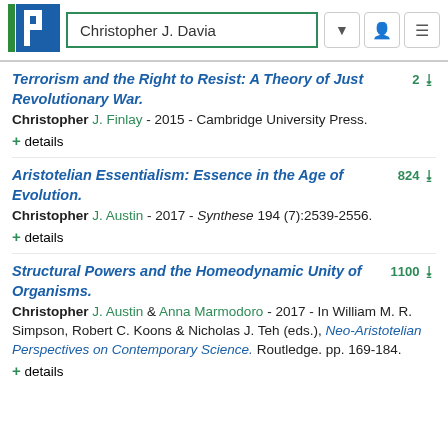Christopher J. Davia
Terrorism and the Right to Resist: A Theory of Just Revolutionary War.
Christopher J. Finlay - 2015 - Cambridge University Press.
+ details
Aristotelian Essentialism: Essence in the Age of Evolution.
Christopher J. Austin - 2017 - Synthese 194 (7):2539-2556.
+ details
Structural Powers and the Homeodynamic Unity of Organisms.
Christopher J. Austin & Anna Marmodoro - 2017 - In William M. R. Simpson, Robert C. Koons & Nicholas J. Teh (eds.), Neo-Aristotelian Perspectives on Contemporary Science. Routledge. pp. 169-184.
+ details